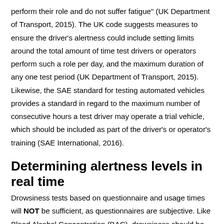perform their role and do not suffer fatigue" (UK Department of Transport, 2015). The UK code suggests measures to ensure the driver's alertness could include setting limits around the total amount of time test drivers or operators perform such a role per day, and the maximum duration of any one test period (UK Department of Transport, 2015). Likewise, the SAE standard for testing automated vehicles provides a standard in regard to the maximum number of consecutive hours a test driver may operate a trial vehicle, which should be included as part of the driver's or operator's training (SAE International, 2016).
Determining alertness levels in real time
Drowsiness tests based on questionnaire and usage times will NOT be sufficient, as questionnaires are subjective. Like Blood Alcohol Concentration (BAC), drowsiness should be measured